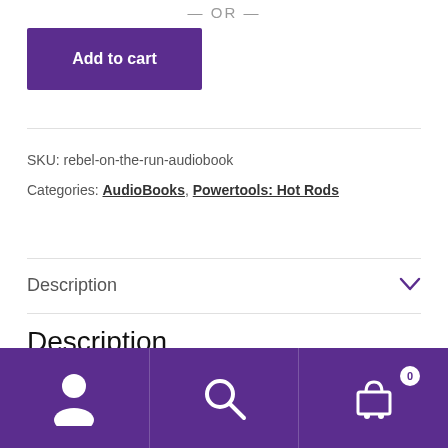— OR —
Add to cart
SKU: rebel-on-the-run-audiobook
Categories: AudioBooks, Powertools: Hot Rods
Description
Description
[Figure (screenshot): Bottom navigation bar with user account icon, search icon, and shopping cart icon with badge showing 0]